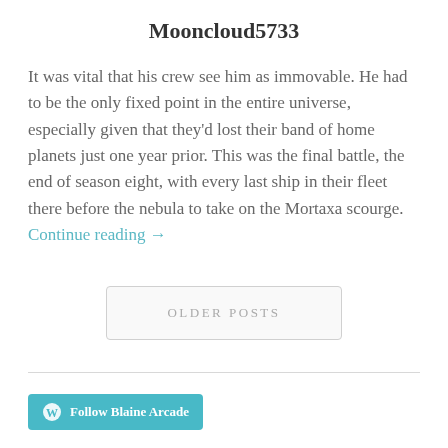Mooncloud5733
It was vital that his crew see him as immovable. He had to be the only fixed point in the entire universe, especially given that they'd lost their band of home planets just one year prior. This was the final battle, the end of season eight, with every last ship in their fleet there before the nebula to take on the Mortaxa scourge. Continue reading →
OLDER POSTS
Follow Blaine Arcade